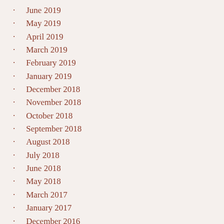June 2019
May 2019
April 2019
March 2019
February 2019
January 2019
December 2018
November 2018
October 2018
September 2018
August 2018
July 2018
June 2018
May 2018
March 2017
January 2017
December 2016
November 2016